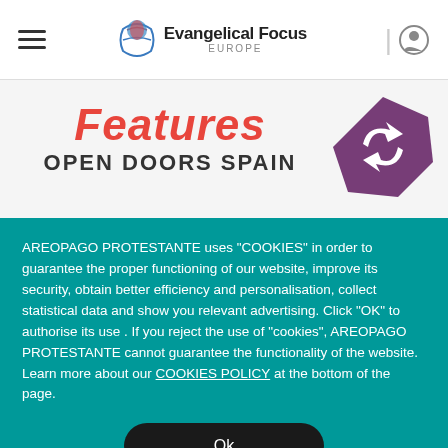Evangelical Focus Europe
Features
OPEN DOORS SPAIN
[Figure (logo): Purple circular stamp badge with white swoosh/recycling-style arrows]
AREOPAGO PROTESTANTE uses “COOKIES” in order to guarantee the proper functioning of our website, improve its security, obtain better efficiency and personalisation, collect statistical data and show you relevant advertising. Click “OK” to authorise its use . If you reject the use of “cookies”, AREOPAGO PROTESTANTE cannot guarantee the functionality of the website. Learn more about our COOKIES POLICY at the bottom of the page.
Ok